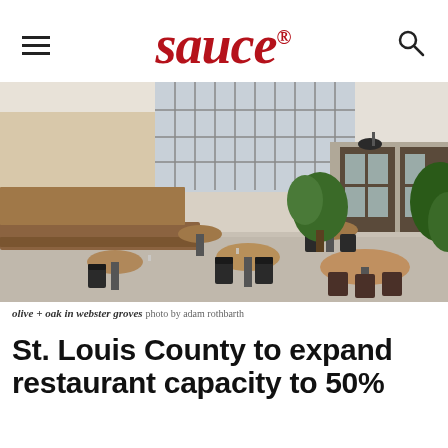sauce
[Figure (photo): Interior of olive + oak restaurant in Webster Groves showing dining area with wooden benches, round tables, black metal chairs, large windows with grid panes, and indoor plants on a polished concrete floor.]
olive + oak in webster groves photo by adam rothbarth
St. Louis County to expand restaurant capacity to 50%